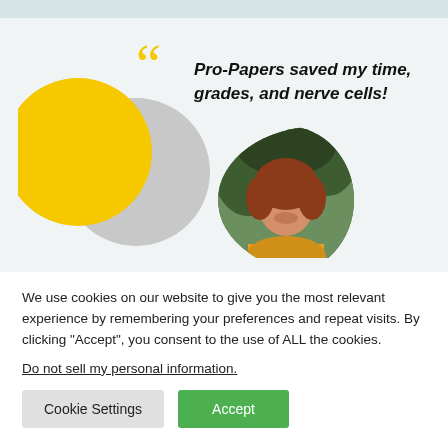[Figure (illustration): Advertisement card for Pro-Papers with yellow and grey circles, quote marks, italic quote text reading 'Pro-Papers saved my time, grades, and nerve cells!', and a circular photo of a smiling red-haired woman.]
We use cookies on our website to give you the most relevant experience by remembering your preferences and repeat visits. By clicking “Accept”, you consent to the use of ALL the cookies.
Do not sell my personal information.
Cookie Settings
Accept